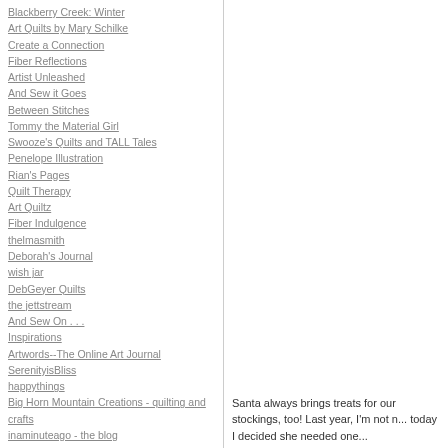Blackberry Creek: Winter
Art Quilts by Mary Schilke
Create a Connection
Fiber Reflections
Artist Unleashed
And Sew it Goes
Between Stitches
Tommy the Material Girl
Swooze's Quilts and TALL Tales
Penelope Illustration
Rian's Pages
Quilt Therapy
Art Quiltz
Fiber Indulgence
thelmasmith
Deborah's Journal
wish jar
DebGeyer Quilts
the jettstream
And Sew On . . .
Inspirations
Artwords--The Online Art Journal
SerenityisBliss
happythings
Big Horn Mountain Creations - quilting and crafts
inaminuteago - the blog
Santa always brings treats for our stockings, too!  Last year, I'm not r... today I decided she needed one...